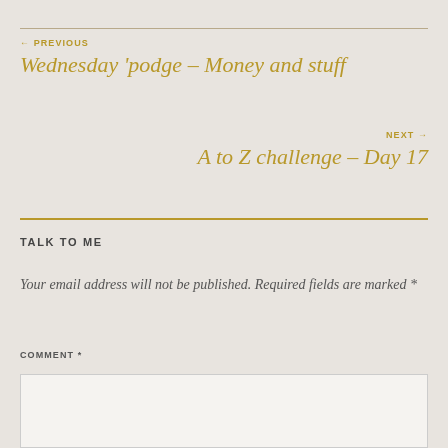← PREVIOUS
Wednesday 'podge – Money and stuff
NEXT →
A to Z challenge – Day 17
TALK TO ME
Your email address will not be published. Required fields are marked *
COMMENT *